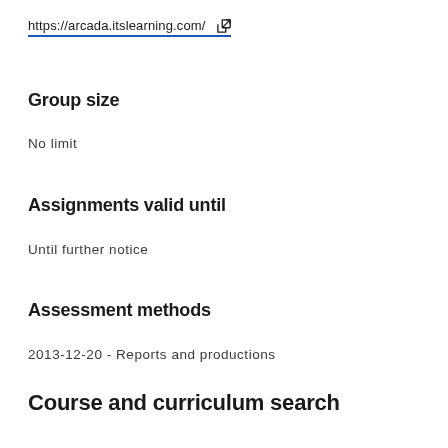https://arcada.itslearning.com/
Group size
No limit
Assignments valid until
Until further notice
Assessment methods
2013-12-20 - Reports and productions
Course and curriculum search